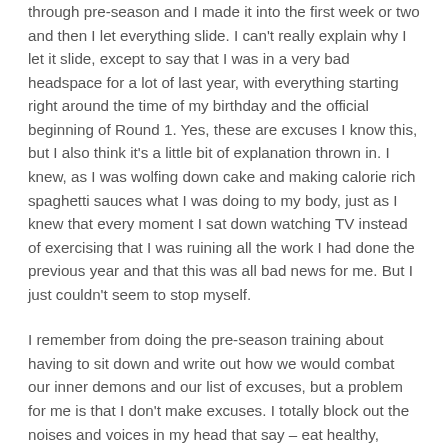through pre-season and I made it into the first week or two and then I let everything slide. I can't really explain why I let it slide, except to say that I was in a very bad headspace for a lot of last year, with everything starting right around the time of my birthday and the official beginning of Round 1. Yes, these are excuses I know this, but I also think it's a little bit of explanation thrown in. I knew, as I was wolfing down cake and making calorie rich spaghetti sauces what I was doing to my body, just as I knew that every moment I sat down watching TV instead of exercising that I was ruining all the work I had done the previous year and that this was all bad news for me. But I just couldn't seem to stop myself.
I remember from doing the pre-season training about having to sit down and write out how we would combat our inner demons and our list of excuses, but a problem for me is that I don't make excuses. I totally block out the noises and voices in my head that say – eat healthy, exercise more. I don't even reach the stage of making an excuse not to exercise, which is where I find my downfall really begins.